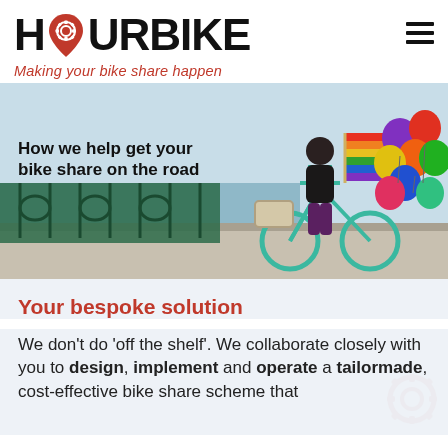HOURBIKE
Making your bike share happen
[Figure (photo): Woman riding a teal bicycle decorated with a rainbow pride flag and colorful balloons, along a seafront promenade. Text overlay reads: How we help get your bike share on the road]
Your bespoke solution
We don't do 'off the shelf'. We collaborate closely with you to design, implement and operate a tailormade, cost-effective bike share scheme that